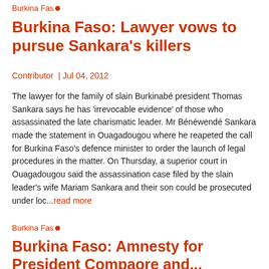Burkina Faso
Burkina Faso: Lawyer vows to pursue Sankara's killers
Contributor  | Jul 04, 2012
The lawyer for the family of slain Burkinabé president Thomas Sankara says he has 'irrevocable evidence' of those who assassinated the late charismatic leader. Mr Bénéwendé Sankara made the statement in Ouagadougou where he reapeted the call for Burkina Faso's defence minister to order the launch of legal procedures in the matter. On Thursday, a superior court in Ouagadougou said the assassination case filed by the slain leader's wife Mariam Sankara and their son could be prosecuted under loc...read more
Burkina Faso
Burkina Faso: Amnesty for President Compaore and...